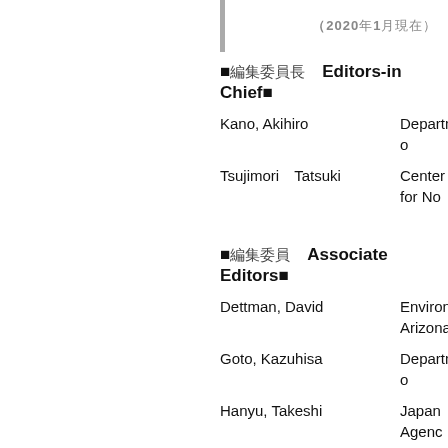（2020年1月現在）
■編集委員長　Editors-in Chief■
Kano, Akihiro — Department of...
Tsujimori　Tatsuki — Center for No...
■編集委員　Associate Editors■
Dettman, David — Environment... Arizona
Goto, Kazuhisa — Department o...
Hanyu, Takeshi — Japan Agenc...
Hodgson, David M. — School of Ea...
Hokada, Tomokazu — National Insti...
Ikehara, Minoru — Center for Ac...